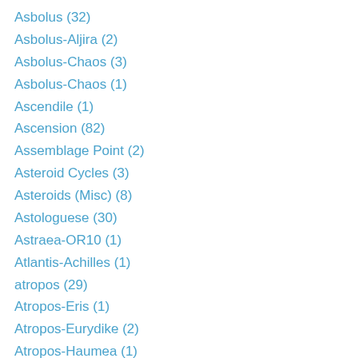Asbolus (32)
Asbolus-Aljira (2)
Asbolus-Chaos (3)
Asbolus-Chaos (1)
Ascendile (1)
Ascension (82)
Assemblage Point (2)
Asteroid Cycles (3)
Asteroids (Misc) (8)
Astologuese (30)
Astraea-OR10 (1)
Atlantis-Achilles (1)
atropos (29)
Atropos-Eris (1)
Atropos-Eurydike (2)
Atropos-Haumea (1)
Atropos-Karma (2)
Atropos-Karma (2)
Atropos-Lilith (1)
Atropos-Moira (1)